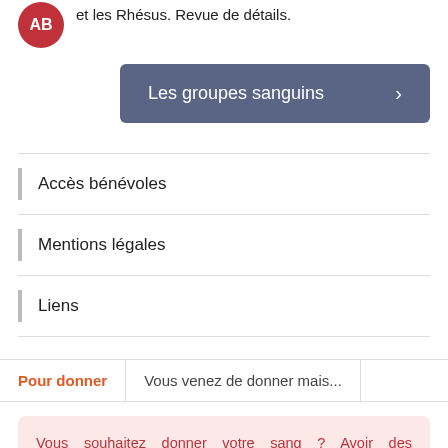et les Rhésus. Revue de détails.
[Figure (logo): Red circle with white text AB]
Les groupes sanguins >
Accès bénévoles
Mentions légales
Liens
Pour donner
Vous venez de donner mais...
Vous souhaitez donner votre sang ? Avoir des informations sur votre secteur géographique ? Contactez rapidement le 0.800.109.900, service et appel gratuits.